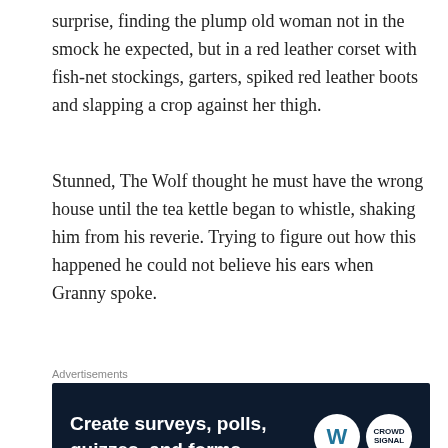surprise, finding the plump old woman not in the smock he expected, but in a red leather corset with fish-net stockings, garters, spiked red leather boots and slapping a crop against her thigh.
Stunned, The Wolf thought he must have the wrong house until the tea kettle began to whistle, shaking him from his reverie. Trying to figure out how this happened he could not believe his ears when Granny spoke.
Advertisements
[Figure (screenshot): Dark blue advertisement banner: 'Create surveys, polls, quizzes, and forms.' with WordPress and Crowdsignal logos]
REPORT THIS AD
“Wolfie, I sent Red on her way. I’m your little tea pot,
Advertisements
[Figure (screenshot): Dark blue advertisement banner: 'WORDPRESS HOSTING THAT MEANS BUSINESS.' with a P logo and an OPEN sign photo]